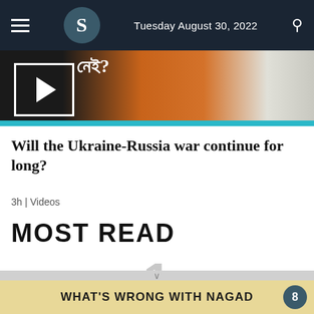Tuesday August 30, 2022
[Figure (screenshot): Video thumbnail showing fire/explosion imagery with play button overlay and teal bottom border strip]
Will the Ukraine-Russia war continue for long?
3h | Videos
MOST READ
1
WHAT'S WRONG WITH NAGAD